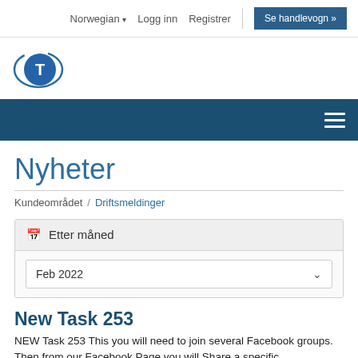Norwegian ▾   Logg inn   Registrer   Se handlevogn »
[Figure (logo): Blue circular logo with white T letter and swoosh arc around it]
Nyheter
Kundeområdet / Driftsmeldinger
Etter måned
Feb 2022
New Task 253
NEW Task 253 This you will need to join several Facebook groups.  Then from our Facebook Page you will Share a specific